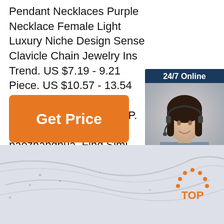Pendant Necklaces Purple Necklace Female Light Luxury Niche Design Sense Clavicle Chain Jewelry Ins Trend. US $7.19 - 9.21 Piece. US $10.57 - 13.54 Piece. Save $2 With Coupon. Cheaper on APP. Free shipping. paozhanghua. Find Simi...
[Figure (other): Orange 'Get Price' button]
[Figure (other): 24/7 Online chat widget with customer service representative photo, 'Click here for free chat!' text, and orange QUOTATION button]
[Figure (photo): Bottom section showing blurry necklace/jewelry photo with TOP button in bottom right corner]